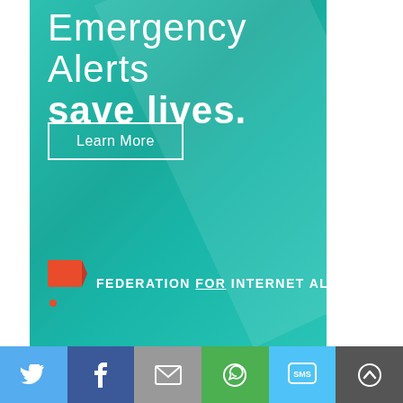Emergency Alerts save lives.
Learn More
[Figure (logo): Federation for Internet Alerts logo with red flag icon and text]
[Figure (infographic): Social media sharing bar with Twitter, Facebook, Email, WhatsApp, SMS, and scroll-to-top buttons]